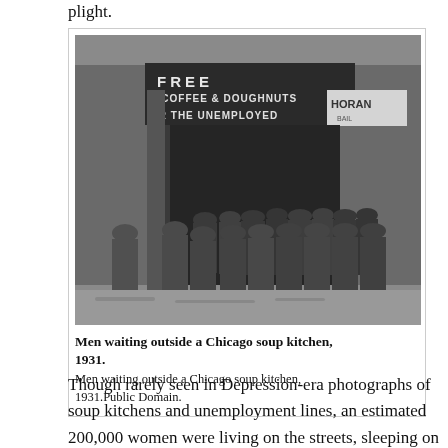plight.
[Figure (photo): Black and white photograph of men waiting in a long line outside a Chicago soup kitchen in 1931. A sign above the entrance reads 'FREE COFFEE & DOUGHNUTS FOR THE UNEMPLOYED'. A 'HORAN' sign is visible to the right.]
Men waiting outside a Chicago soup kitchen, 1931.
Men waiting outside a Chicago soup kitchen, 1931.Public Domain.
Though rarely seen in Depression-era photographs of soup kitchens and unemployment lines, an estimated 200,000 women were living on the streets, sleeping on subways and